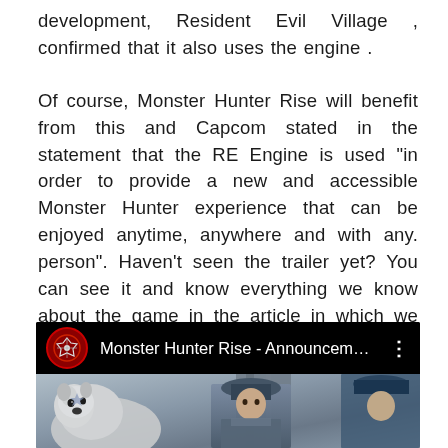development, Resident Evil Village , confirmed that it also uses the engine .
Of course, Monster Hunter Rise will benefit from this and Capcom stated in the statement that the RE Engine is used “in order to provide a new and accessible Monster Hunter experience that can be enjoyed anytime, anywhere and with any. person”. Haven’t seen the trailer yet? You can see it and know everything we know about the game in the article in which we tell you about its existence .
[Figure (screenshot): YouTube video thumbnail showing Monster Hunter Rise - Announcem... with channel icon (red Monster Hunter logo), three dots menu, and a game screenshot showing characters including a white dog/Palamute and hunters.]